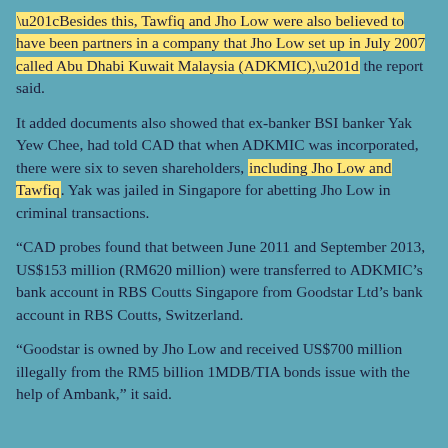“Besides this, Tawfiq and Jho Low were also believed to have been partners in a company that Jho Low set up in July 2007 called Abu Dhabi Kuwait Malaysia (ADKMIC),” the report said.
It added documents also showed that ex-banker BSI banker Yak Yew Chee, had told CAD that when ADKMIC was incorporated, there were six to seven shareholders, including Jho Low and Tawfiq. Yak was jailed in Singapore for abetting Jho Low in criminal transactions.
“CAD probes found that between June 2011 and September 2013, US$153 million (RM620 million) were transferred to ADKMIC’s bank account in RBS Coutts Singapore from Goodstar Ltd’s bank account in RBS Coutts, Switzerland.
“Goodstar is owned by Jho Low and received US$700 million illegally from the RM5 billion 1MDB/TIA bonds issue with the help of Ambank,” it said.